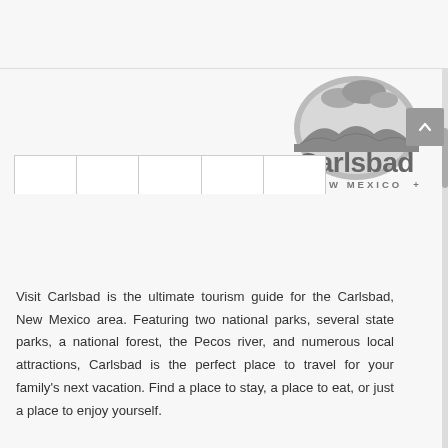[Figure (logo): Carlsbad New Mexico tourism logo — semicircle landscape scene above bold 'Carlsbad' wordmark with 'NEW MEXICO' tagline below, rendered in gray tones]
Visit Carlsbad is the ultimate tourism guide for the Carlsbad, New Mexico area. Featuring two national parks, several state parks, a national forest, the Pecos river, and numerous local attractions, Carlsbad is the perfect place to travel for your family's next vacation. Find a place to stay, a place to eat, or just a place to enjoy yourself.